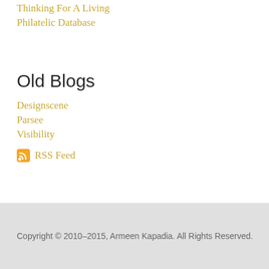Thinking For A Living
Philatelic Database
Old Blogs
Designscene
Parsee
Visibility
RSS Feed
Copyright © 2010–2015, Armeen Kapadia. All Rights Reserved.